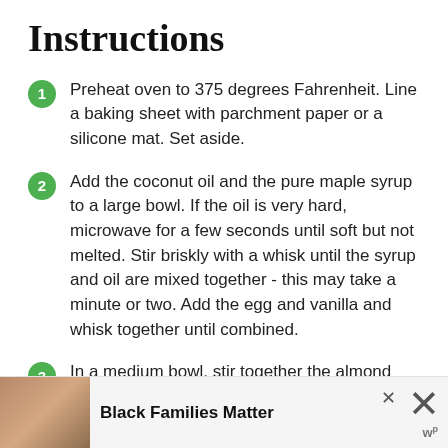Instructions
Preheat oven to 375 degrees Fahrenheit. Line a baking sheet with parchment paper or a silicone mat. Set aside.
Add the coconut oil and the pure maple syrup to a large bowl. If the oil is very hard, microwave for a few seconds until soft but not melted. Stir briskly with a whisk until the syrup and oil are mixed together - this may take a minute or two. Add the egg and vanilla and whisk together until combined.
In a medium bowl, stir together the almond flour...
[Figure (other): Advertisement banner: photo of three smiling people, text 'Black Families Matter', close buttons]